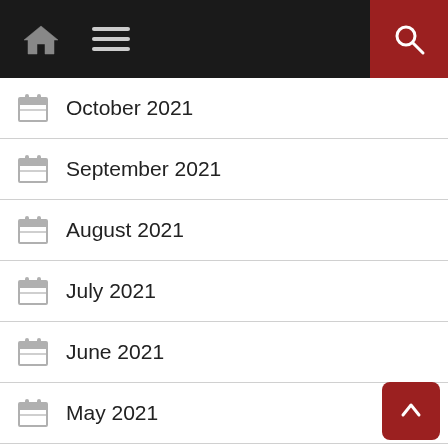Navigation bar with home icon, menu icon, and search button
October 2021
September 2021
August 2021
July 2021
June 2021
May 2021
April 2021
March 2021
February 2021